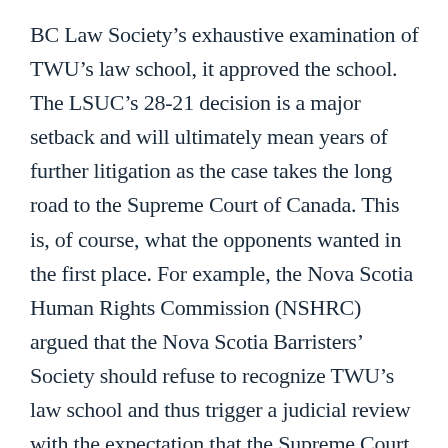BC Law Society's exhaustive examination of TWU's law school, it approved the school. The LSUC's 28-21 decision is a major setback and will ultimately mean years of further litigation as the case takes the long road to the Supreme Court of Canada. This is, of course, what the opponents wanted in the first place. For example, the Nova Scotia Human Rights Commission (NSHRC) argued that the Nova Scotia Barristers' Society should refuse to recognize TWU's law school and thus trigger a judicial review with the expectation that the Supreme Court of Canada will rehear the same issues it decided on in 2001 and this time rule against TWU.[4]
As the New Brunswick Law Society does its own